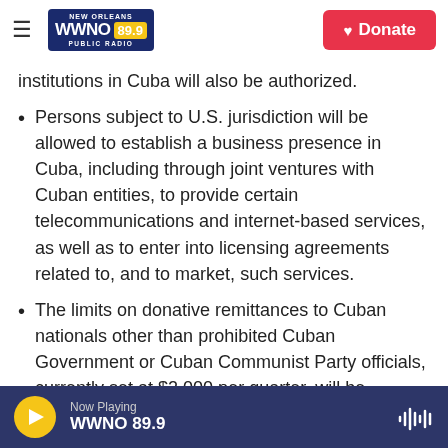WWNO 89.9 New Orleans Public Radio — Donate
institutions in Cuba will also be authorized.
Persons subject to U.S. jurisdiction will be allowed to establish a business presence in Cuba, including through joint ventures with Cuban entities, to provide certain telecommunications and internet-based services, as well as to enter into licensing agreements related to, and to market, such services.
The limits on donative remittances to Cuban nationals other than prohibited Cuban Government or Cuban Communist Party officials, currently set at $2,000 per quarter, will be removed entirely. The
Now Playing WWNO 89.9